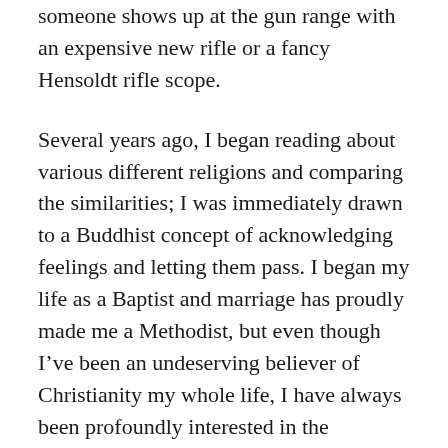someone shows up at the gun range with an expensive new rifle or a fancy Hensoldt rifle scope.
Several years ago, I began reading about various different religions and comparing the similarities; I was immediately drawn to a Buddhist concept of acknowledging feelings and letting them pass. I began my life as a Baptist and marriage has proudly made me a Methodist, but even though I’ve been an undeserving believer of Christianity my whole life, I have always been profoundly interested in the teachings of all religions and most especially, their similarities to each other. Lately, in this era of worldwide terrorism, I’ve also focused on some particularly disturbing religious principles too, but that’s for another blog.